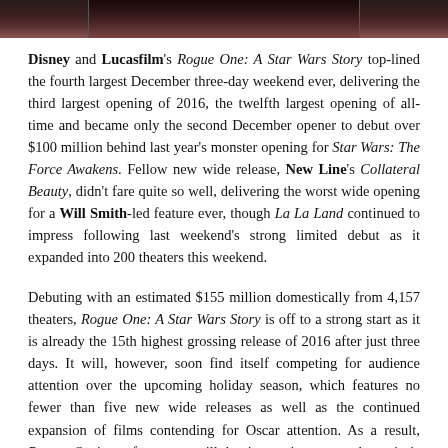[Figure (photo): Partial image at top of page, dark cinematic image showing what appears to be a Star Wars character (Darth Vader) helmet/costume in shadowed reddish tones]
Disney and Lucasfilm's Rogue One: A Star Wars Story top-lined the fourth largest December three-day weekend ever, delivering the third largest opening of 2016, the twelfth largest opening of all-time and became only the second December opener to debut over $100 million behind last year's monster opening for Star Wars: The Force Awakens. Fellow new wide release, New Line's Collateral Beauty, didn't fare quite so well, delivering the worst wide opening for a Will Smith-led feature ever, though La La Land continued to impress following last weekend's strong limited debut as it expanded into 200 theaters this weekend.
Debuting with an estimated $155 million domestically from 4,157 theaters, Rogue One: A Star Wars Story is off to a strong start as it is already the 15th highest grossing release of 2016 after just three days. It will, however, soon find itself competing for audience attention over the upcoming holiday season, which features no fewer than five new wide releases as well as the continued expansion of films contending for Oscar attention. As a result, Rogue One's performance will be interesting to track as it is something of an unprecedented release given it's only the second movie to have ever opened over $100 million in December, and yet it won't likely have the sheer staying power of its...